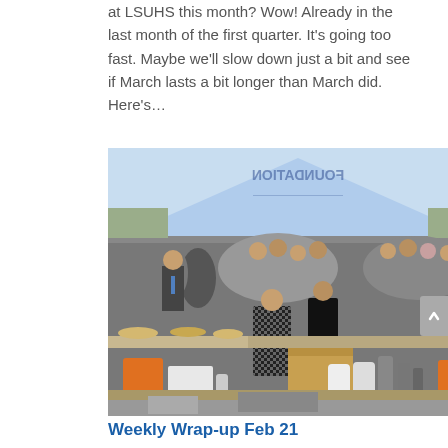at LSUHS this month? Wow! Already in the last month of the first quarter. It's going too fast. Maybe we'll slow down just a bit and see if March lasts a bit longer than March did. Here's...
[Figure (photo): Outdoor event under a blue foundation tent/canopy. People gathered around tables with food items. A person in a checked coat stands at the center. Tables in foreground have various containers and supplies. A cardboard box, orange buckets, and bottles are visible.]
Weekly Wrap-up Feb 21